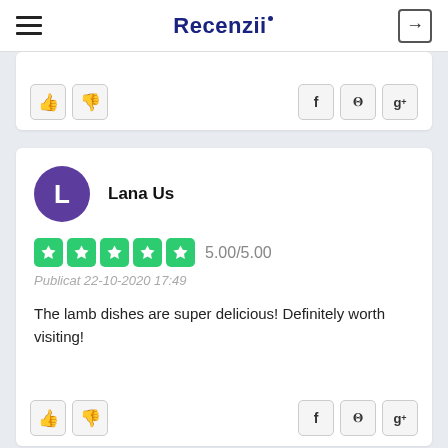Recenzii
[Figure (screenshot): Thumbs up and thumbs down buttons with Facebook, Twitter, Google+ social share icons]
Lana Us
5.00/5.00
Publicat 22-10-2020 17:49
The lamb dishes are super delicious! Definitely worth visiting!
[Figure (screenshot): Thumbs up and thumbs down buttons with Facebook, Twitter, Google+ social share icons]